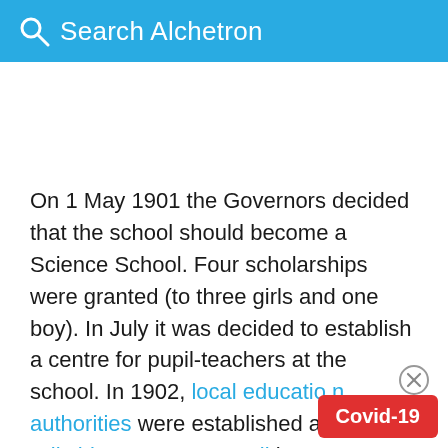Search Alchetron
On 1 May 1901 the Governors decided that the school should become a Science School. Four scholarships were granted (to three girls and one boy). In July it was decided to establish a centre for pupil-teachers at the school. In 1902, local education authorities were established and Wiltshire County Council became responsible for education in Chippenham. Latin was omitted from the curriculum. By 1904 there were 101 pupils; 50 from urban and 51 from rural areas. In addition teachers were attending, 2 from urban and the